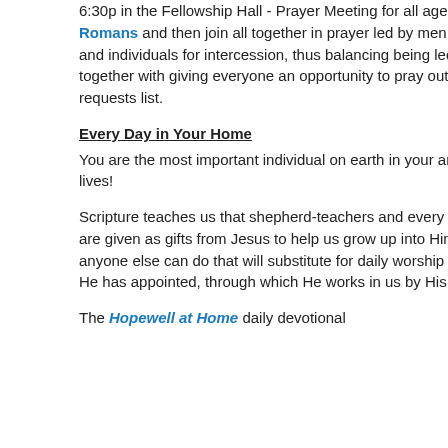6:30p in the Fellowship Hall - Prayer Meeting for all ages. We hear a sermon from Romans and then join all together in prayer led by men, before splitting into groups and individuals for intercession, thus balancing being led in praying corporately together with giving everyone an opportunity to pray out loud and covering our requests list.
Every Day in Your Home
You are the most important individual on earth in your and your children's spiritual lives!
Scripture teaches us that shepherd-teachers and every other member of the church are given as gifts from Jesus to help us grow up into Him. But there is nothing that anyone else can do that will substitute for daily worship of Him, by those means that He has appointed, through which He works in us by His grace.
The Hopewell at Home daily devotional
If we are dear chi looks like, especia "an offering and a Himself for us"),
Specifically, God forgiveness: bei Praise God that i creating us anew
Who has si good cand
Suggested songs:
at 12:00 AM
Labels: Ephesians
No comme